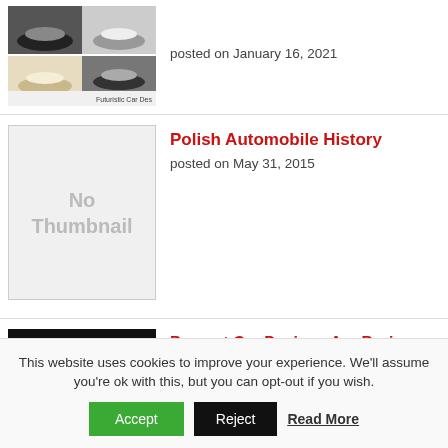[Figure (photo): Grid of four futuristic car design renderings with label 'Futuristic Car Des' at bottom right]
posted on January 16, 2021
[Figure (photo): No Thumbnail placeholder box with gray background]
Polish Automobile History
posted on May 31, 2015
[Figure (photo): Dark photo of racing supercars in a showroom, black car in foreground with yellow and blue cars behind]
Present Car Designs Are Boring – We Want Unique Cars Back!
posted on September 16, 2020
This website uses cookies to improve your experience. We'll assume you're ok with this, but you can opt-out if you wish.